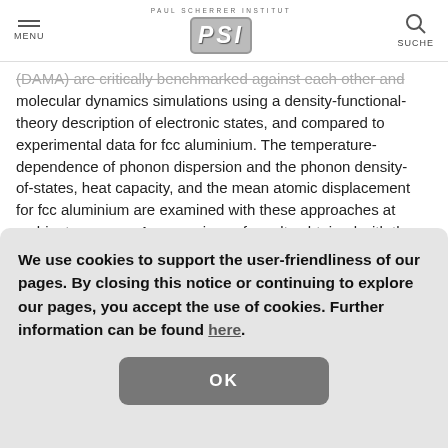MENU | PAUL SCHERRER INSTITUT PSI | SUCHE
(DAMA) are critically benchmarked against each other and molecular dynamics simulations using a density-functional-theory description of electronic states, and compared to experimental data for fcc aluminium. The temperature-dependence of phonon dispersion and the phonon density-of-states, heat capacity, and the mean atomic displacement for fcc aluminium are examined with these approaches at ambient pressure. A comparison of results obtained with the harmonic approximation to the ones predicted by SCAILD and
We use cookies to support the user-friendliness of our pages. By closing this notice or continuing to explore our pages, you accept the use of cookies. Further information can be found here.
OK